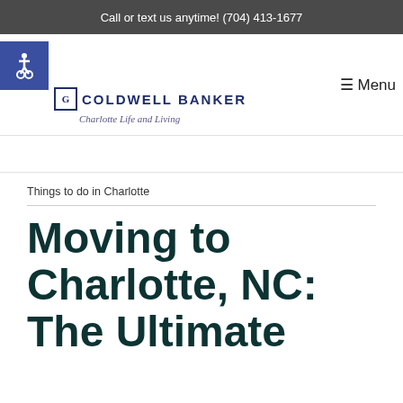Call or text us anytime! (704) 413-1677
[Figure (logo): Coldwell Banker Charlotte Life and Living logo with accessibility icon]
≡ Menu
Things to do in Charlotte
Moving to Charlotte, NC: The Ultimate